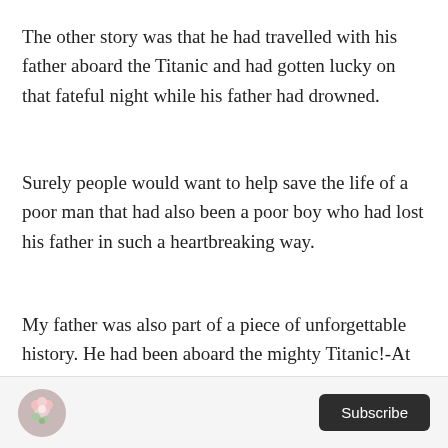The other story was that he had travelled with his father aboard the Titanic and had gotten lucky on that fateful night while his father had drowned.
Surely people would want to help save the life of a poor man that had also been a poor boy who had lost his father in such a heartbreaking way.
My father was also part of a piece of unforgettable history. He had been aboard the mighty Titanic!-At least based on the story I was telling.
Subscribe